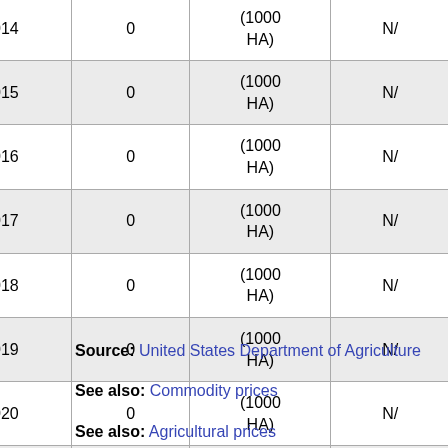| Year | Value | Unit | NA |
| --- | --- | --- | --- |
| 2014 | 0 | (1000 HA) | NA |
| 2015 | 0 | (1000 HA) | NA |
| 2016 | 0 | (1000 HA) | NA |
| 2017 | 0 | (1000 HA) | NA |
| 2018 | 0 | (1000 HA) | NA |
| 2019 | 0 | (1000 HA) | NA |
| 2020 | 0 | (1000 HA) | NA |
| 2021 | 0 | (1000 HA) | NA |
| 2022 | 0 | (1000 HA) | NA |
Source: United States Department of Agriculture
See also: Commodity prices
See also: Agricultural prices